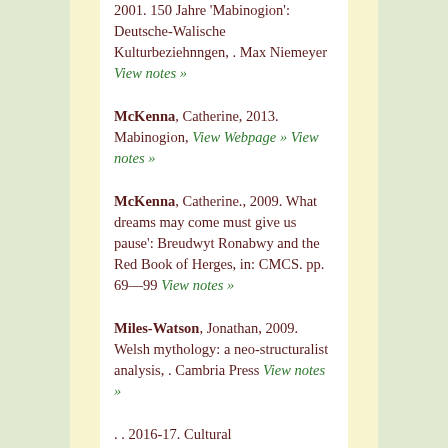2001. 150 Jahre 'Mabinogion': Deutsche-Walische Kulturbeziehnngen, . Max Niemeyer View notes »
McKenna, Catherine, 2013. Mabinogion, View Webpage » View notes »
McKenna, Catherine., 2009. What dreams may come must give us pause': Breudwyt Ronabwy and the Red Book of Herges, in: CMCS. pp. 69—99 View notes »
Miles-Watson, Jonathan, 2009. Welsh mythology: a neo-structuralist analysis, . Cambria Press View notes »
. . 2016-17. Cultural